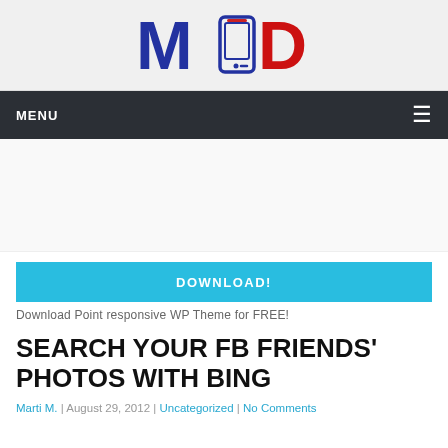[Figure (logo): MOD logo with smartphone icon between M and D letters. M in dark blue, smartphone icon in dark blue outline with red detail, D in red.]
MENU ≡
[Figure (other): Advertisement area — blank gray space]
DOWNLOAD!
Download Point responsive WP Theme for FREE!
SEARCH YOUR FB FRIENDS' PHOTOS WITH BING
Marti M. | August 29, 2012 | Uncategorized | No Comments